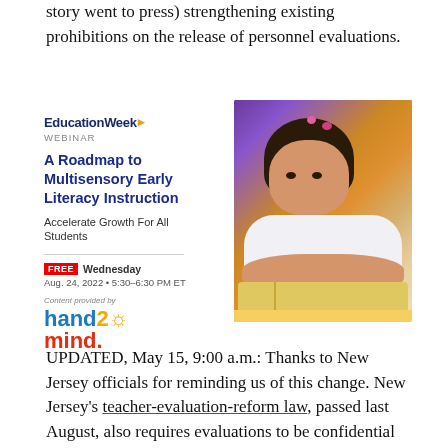story went to press) strengthening existing prohibitions on the release of personnel evaluations.
[Figure (infographic): EducationWeek Webinar advertisement for 'A Roadmap to Multisensory Early Literacy Instruction — Accelerate Growth For All Students'. FREE Wednesday Aug. 24, 2022 • 5:30–6:30 PM ET. Content provided by hand2mind. Right side shows a photo of a young toddler girl reading a book.]
UPDATED, May 15, 9:00 a.m.: Thanks to New Jersey officials for reminding us of this change. New Jersey's teacher-evaluation-reform law, passed last August, also requires evaluations to be confidential and not released to